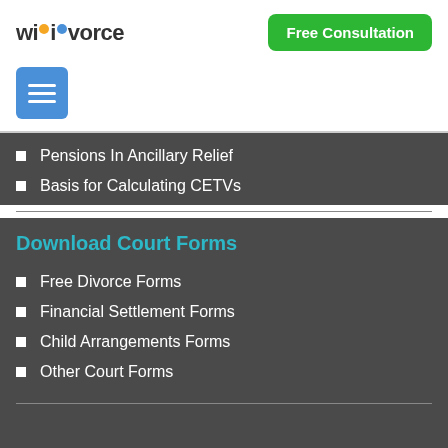wikivorce | Free Consultation
[Figure (other): Hamburger menu icon blue square]
Pensions In Ancillary Relief
Basis for Calculating CETVs
Download Court Forms
Free Divorce Forms
Financial Settlement Forms
Child Arrangements Forms
Other Court Forms